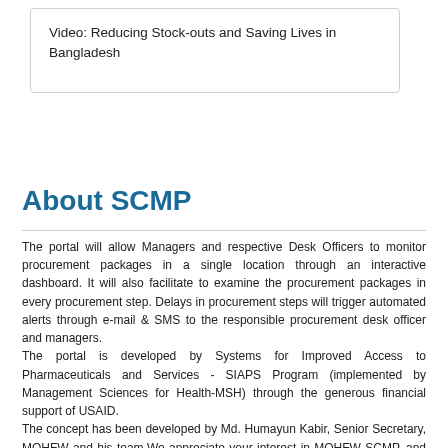Video: Reducing Stock-outs and Saving Lives in Bangladesh
About SCMP
The portal will allow Managers and respective Desk Officers to monitor procurement packages in a single location through an interactive dashboard. It will also facilitate to examine the procurement packages in every procurement step. Delays in procurement steps will trigger automated alerts through e-mail & SMS to the responsible procurement desk officer and managers.
The portal is developed by Systems for Improved Access to Pharmaceuticals and Services - SIAPS Program (implemented by Management Sciences for Health-MSH) through the generous financial support of USAID.
The concept has been developed by Md. Humayun Kabir, Senior Secretary, MOHFW and his team.We appreciate your interest in MOHFW SCMP, and welcome your opinions and feedback, please contact us at sasadmin2@mohfw.gov.bd